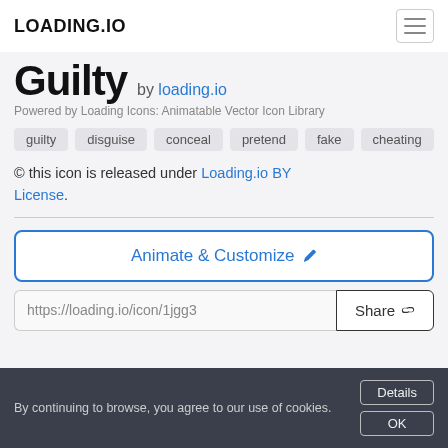LOADING.IO
Guilty by loading.io
Powered by Loading Icons: Animatable Vector Icon Library
guilty
disguise
conceal
pretend
fake
cheating
© this icon is released under Loading.io BY License.
Animate & Customize
https://loading.io/icon/1jgg3   Share
By continuing to browse, you agree to our use of cookies.  Details  OK